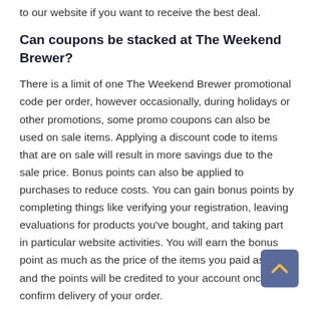to our website if you want to receive the best deal.
Can coupons be stacked at The Weekend Brewer?
There is a limit of one The Weekend Brewer promotional code per order, however occasionally, during holidays or other promotions, some promo coupons can also be used on sale items. Applying a discount code to items that are on sale will result in more savings due to the sale price. Bonus points can also be applied to purchases to reduce costs. You can gain bonus points by completing things like verifying your registration, leaving evaluations for products you've bought, and taking part in particular website activities. You will earn the bonus point as much as the price of the items you paid as well, and the points will be credited to your account once you confirm delivery of your order.
Is The Weekend Brewer ever found sharing a